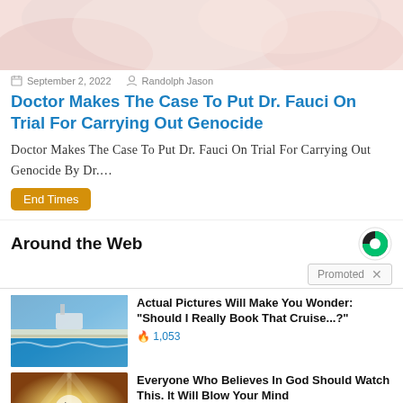[Figure (photo): Partial image at top of page — appears to show a person's arm/skin, pink/skin-toned background]
September 2, 2022   Randolph Jason
Doctor Makes The Case To Put Dr. Fauci On Trial For Carrying Out Genocide
Doctor Makes The Case To Put Dr. Fauci On Trial For Carrying Out Genocide By Dr....
End Times
Around the Web
Promoted
[Figure (photo): Aerial photo of cruise ship or bridge over blue water]
Actual Pictures Will Make You Wonder: "Should I Really Book That Cruise...?"
🔥 1,053
[Figure (photo): Atmospheric golden/cloudy scene with play button overlay]
Everyone Who Believes In God Should Watch This. It Will Blow Your Mind
🔥 63,752